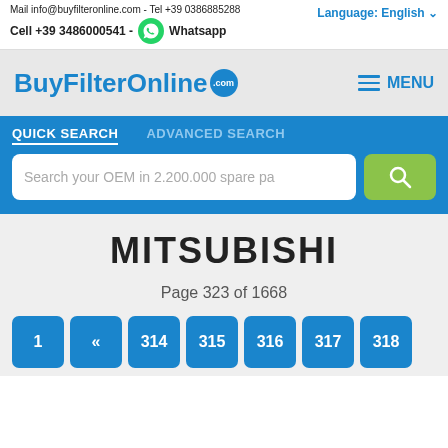Mail info@buyfilteronline.com - Tel +39 0386885288
Cell +39 3486000541 - Whatsapp
Language: English
BuyFilterOnline .com
MENU
QUICK SEARCH    ADVANCED SEARCH
Search your OEM in 2.200.000 spare pa
MITSUBISHI
Page 323 of 1668
1  «  314  315  316  317  318